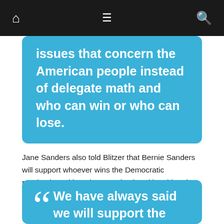Navigation bar with home, menu, and search icons
issues that concern the American people instead of delegate math and who can win or who can lose.
Jane Sanders also told Blitzer that Bernie Sanders will support whoever wins the Democratic nomination, although Jane's husband has hinted lately that Clinton would have to make drastic changes to her platform to gain his support.
We have always said we will support the democratic